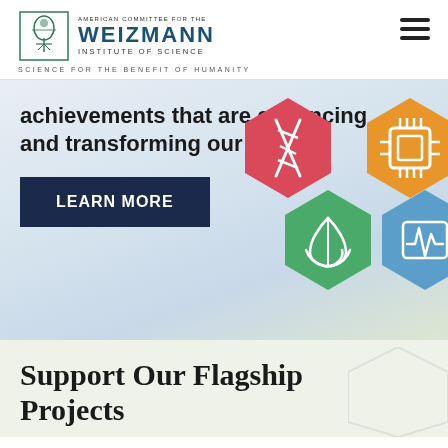[Figure (logo): American Committee for the Weizmann Institute of Science logo with emblem and tagline 'Science for the Benefit of Humanity']
achievements that are enhancing and transforming our lives.
LEARN MORE
[Figure (illustration): Five hexagonal science icons: DNA (red), microchip (orange), plant/hands (green), heartbeat monitor (blue), and a partially visible purple icon]
Support Our Flagship Projects